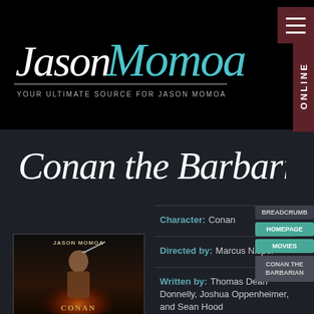[Figure (logo): Jason Momoa Online logo — cursive white/teal lettering 'Jason Momoa' with tagline 'YOUR ULTIMATE SOURCE FOR JASON MOMOA' and a vertical 'ONLINE' badge in maroon on the right]
Conan the Barbarian
Character: Conan
Directed by: Marcus Nispel
Written by: Thomas Dean Donnelly, Joshua Oppenheimer, and Sean Hood
[Figure (photo): Conan the Barbarian movie poster featuring Jason Momoa with a sword, fiery background, text JASON MOMOA at top and CONAN at bottom]